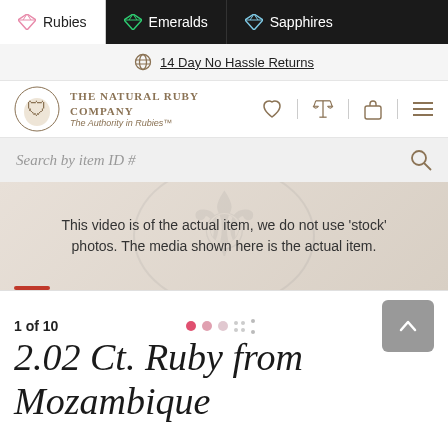Rubies | Emeralds | Sapphires
14 Day No Hassle Returns
[Figure (logo): The Natural Ruby Company crest logo with text: THE NATURAL RUBY COMPANY — The Authority in Rubies™]
Search by item ID #
This video is of the actual item, we do not use 'stock' photos. The media shown here is the actual item.
1 of 10
2.02 Ct. Ruby from Mozambique